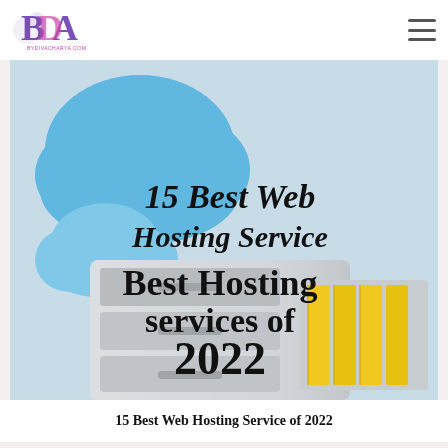BYDIVACHARYA.COM
[Figure (illustration): Hero image for a blog post titled '15 Best Web Hosting Service of 2022'. Shows blue cloud shapes in the background and silver filing cabinet drawers with yellow folders on the right. Text overlay reads '15 Best Web Hosting Service' in cursive/script and 'Best Hosting services of 2022' in bold serif font.]
15 Best Web Hosting Service of 2022